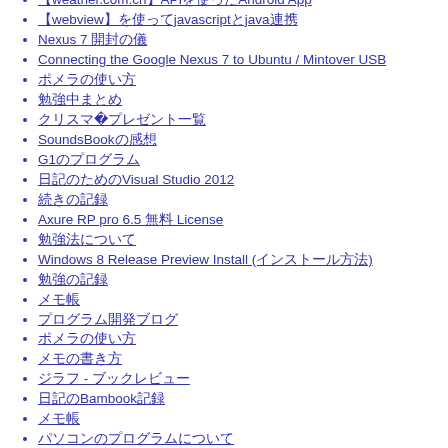weather.com.cnのAPIを使ったAndroid Appの作り方
webviewを使ってjavascriptとjavaの連携
Nexus 7 開封の儀
Connecting the Google Nexus 7 to Ubuntu / Mintover USB
ポメラの使い方
勉強中まとめ
クリスマス2012プレゼント一覧
SoundsBookの感想
G1のプログラム
日記のためのVisual Studio 2012
続きの記録
Axure RP pro 6.5 無料 License
勉強法について
Windows 8 Release Preview Install (インストール方法)
勉強の記録
メモ帳
プログラム開発ブログ
ポメラの使い方
メモの書き方
ジラフ - ブックレビュー
日記のBambook記録
メモ帳
パソコンのプログラムについて
勉強の記録
メモ帳
Android Application App Tips Note